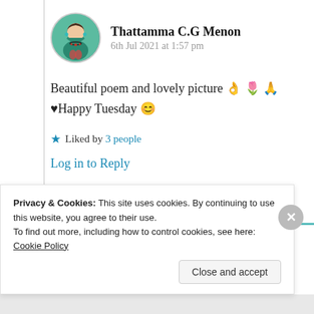Thattamma C.G Menon
6th Jul 2021 at 1:57 pm
Beautiful poem and lovely picture 👌🌷🙏♥Happy Tuesday 😊
★ Liked by 3 people
Log in to Reply
Privacy & Cookies: This site uses cookies. By continuing to use this website, you agree to their use.
To find out more, including how to control cookies, see here: Cookie Policy
Close and accept